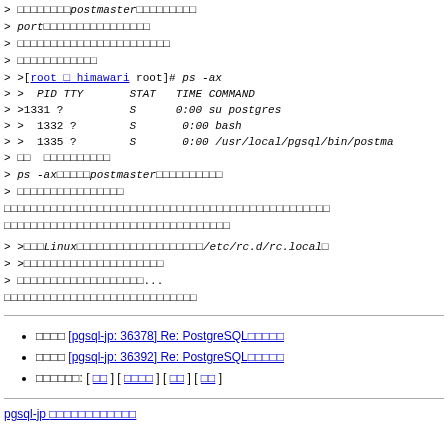> □□□□□□□□postmaster□□□□□□□□□
> port□□□□□□□□□□□□□□□□
> □□□□□□□□□□□□□□□□□□□□□□□
> □□□□□□□□□□□□
> >[root □ himawari root]# ps -ax
>  > PID TTY       STAT   TIME COMMAND
> >1331 ?          S      0:00 su postgres
> >  1332 ?        S       0:00 bash
> >  1335 ?        S       0:00 /usr/local/pgsql/bin/postma
> □□  □□□□□□□□□□
> ps -ax□□□□□postmaster□□□□□□□□□□
> □□□□□□□□□□□□□□□□
□□□□□□□□□□□□□□□□□□□□□□□□□□□□□□□□□□□□□□□□□□□□□□□
□□□□□□□□□□□□□□□□□□□□□□□□□□□□□□□□□□
> >□□□Linux□□□□□□□□□□□□□□□□□□□/etc/rc.d/rc.local□
> >□□□□□□□□□□□□□□□□□□□□□
> □□□□□□□□□□□□□□□□□□□...
□□□□□□□□□□□□□□□□□□□□□□□□□□□□□
□□□□ [pgsql-jp: 36378] Re: PostgreSQL□□□□□
□□□□ [pgsql-jp: 36392] Re: PostgreSQL□□□□□
□□□□□□: [ □□ ] [ □□□□ ] [ □□ ] [ □□ ]
pgsql-jp □□□□□□□□□□□□